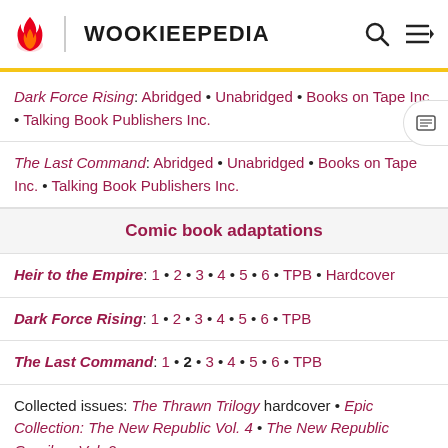WOOKIEEPEDIA
Dark Force Rising: Abridged • Unabridged • Books on Tape Inc. • Talking Book Publishers Inc.
The Last Command: Abridged • Unabridged • Books on Tape Inc. • Talking Book Publishers Inc.
Comic book adaptations
Heir to the Empire: 1 • 2 • 3 • 4 • 5 • 6 • TPB • Hardcover
Dark Force Rising: 1 • 2 • 3 • 4 • 5 • 6 • TPB
The Last Command: 1 • 2 • 3 • 4 • 5 • 6 • TPB
Collected issues: The Thrawn Trilogy hardcover • Epic Collection: The New Republic Vol. 4 • The New Republic Omnibus Vol. 2
Behind the scenes